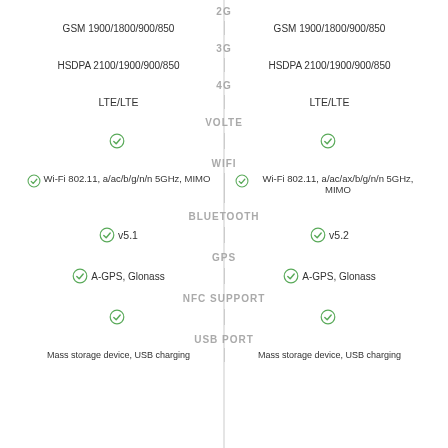2G
GSM 1900/1800/900/850 | GSM 1900/1800/900/850
3G
HSDPA 2100/1900/900/850 | HSDPA 2100/1900/900/850
4G
LTE/LTE | LTE/LTE
VOLTE
✓ | ✓
WIFI
Wi-Fi 802.11, a/ac/b/g/n/n 5GHz, MIMO | Wi-Fi 802.11, a/ac/ax/b/g/n/n 5GHz, MIMO
BLUETOOTH
v5.1 | v5.2
GPS
A-GPS, Glonass | A-GPS, Glonass
NFC SUPPORT
✓ | ✓
USB PORT
Mass storage device, USB charging | Mass storage device, USB charging